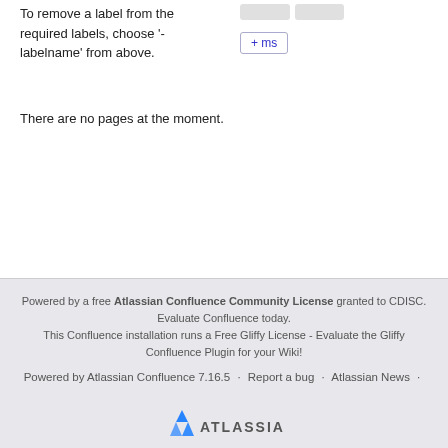To remove a label from the required labels, choose '-labelname' from above.
There are no pages at the moment.
Powered by a free Atlassian Confluence Community License granted to CDISC. Evaluate Confluence today.
This Confluence installation runs a Free Gliffy License - Evaluate the Gliffy Confluence Plugin for your Wiki!
Powered by Atlassian Confluence 7.16.5 · Report a bug · Atlassian News ·
[unicode chars]